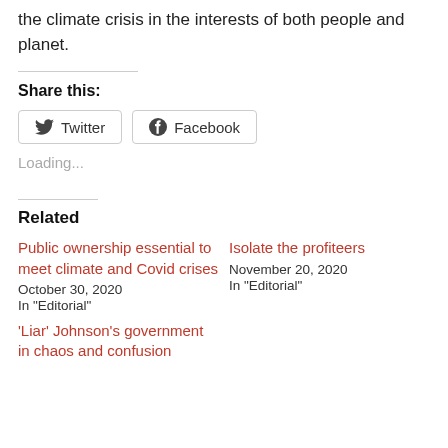the climate crisis in the interests of both people and planet.
Share this:
[Figure (other): Twitter and Facebook share buttons]
Loading...
Related
Public ownership essential to meet climate and Covid crises
October 30, 2020
In "Editorial"
Isolate the profiteers
November 20, 2020
In "Editorial"
'Liar' Johnson's government in chaos and confusion